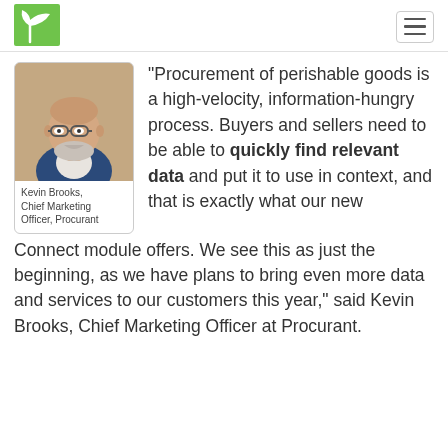[Figure (logo): Procurant green leaf/sprout logo in top left header]
[Figure (photo): Headshot photo of Kevin Brooks, a bald man with glasses and a beard wearing a blue blazer, smiling]
Kevin Brooks, Chief Marketing Officer, Procurant
“Procurement of perishable goods is a high-velocity, information-hungry process. Buyers and sellers need to be able to quickly find relevant data and put it to use in context, and that is exactly what our new Connect module offers. We see this as just the beginning, as we have plans to bring even more data and services to our customers this year,” said Kevin Brooks, Chief Marketing Officer at Procurant.